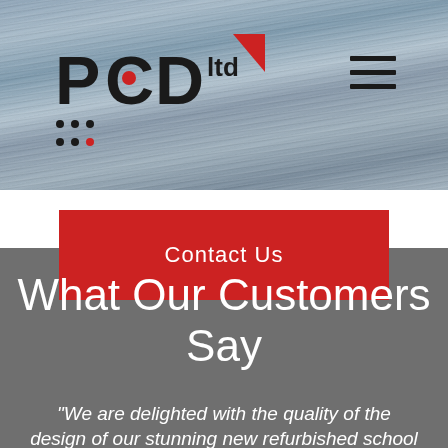[Figure (logo): PCD ltd logo with red triangle and dots]
[Figure (other): Hamburger menu icon (three horizontal lines)]
Contact Us
What Our Customers Say
"We are delighted with the quality of the design of our stunning new refurbished school